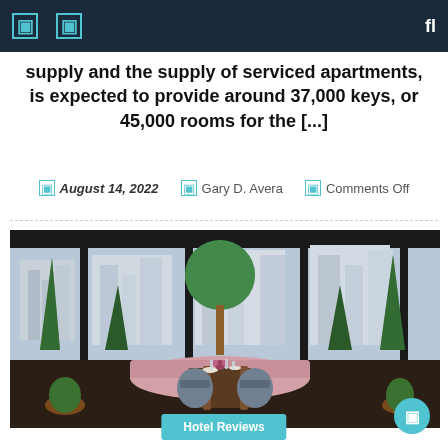Navigation bar with icons
supply and the supply of serviced apartments, is expected to provide around 37,000 keys, or 45,000 rooms for the [...]
August 14, 2022  Gary D. Avera  Comments Off
[Figure (photo): Interior of an upscale rooftop restaurant with floor-to-ceiling windows overlooking a city skyline. Features a round dining table set with glassware and pink flowers, surrounded by grey upholstered chairs and a curved pink banquette. Tall conical topiary trees and a large round-canopy tree are placed throughout the space. Potted plants and green foliage line the perimeter.]
Hotel Reviews